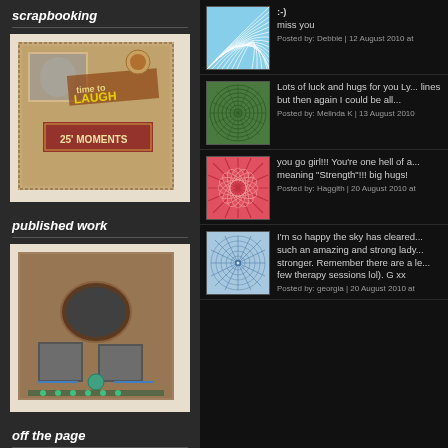scrapbooking
[Figure (photo): Scrapbooking layout with vintage photos and 'Time to Laugh - 25 Moments' text]
published work
[Figure (photo): Published work scrapbooking layout with oval frame and black and white photos]
off the page
[Figure (photo): Off the page project partially visible]
[Figure (illustration): Blue spiral fan pattern thumbnail]
:-)
miss you
Posted by: Debbie | 12 August 2010 at
[Figure (illustration): Green circular spiral pattern thumbnail]
Lots of luck and hugs for you Ly... lines but then again I could be all...
Posted by: Melinda K | 13 August 2010
[Figure (illustration): Red/coral starburst pattern thumbnail]
you go girl!!! You're one hell of a... meaning "Strength"!!! big hugs!
Posted by: Haggith | 20 August 2010 at
[Figure (illustration): Blue mandala/spirograph pattern thumbnail]
I'm so happy the sky has cleared... such an amazing and strong lady... stronger. Remember there are a le... few therapy sessions lol). G xx
Posted by: georgia | 20 August 2010 at